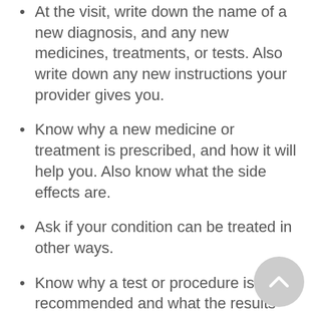At the visit, write down the name of a new diagnosis, and any new medicines, treatments, or tests. Also write down any new instructions your provider gives you.
Know why a new medicine or treatment is prescribed, and how it will help you. Also know what the side effects are.
Ask if your condition can be treated in other ways.
Know why a test or procedure is recommended and what the results could mean.
Know what to expect if you do not take the medicine or have the test or procedure.
If you have a follow-up appointment, write